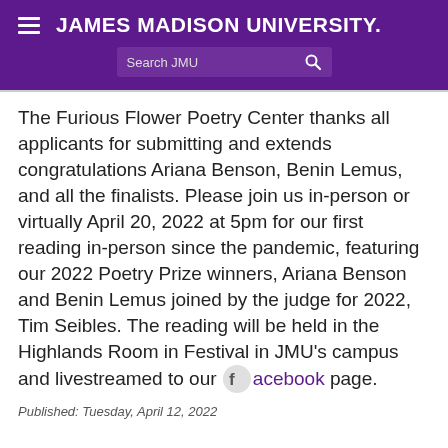JAMES MADISON UNIVERSITY.
The Furious Flower Poetry Center thanks all applicants for submitting and extends congratulations Ariana Benson, Benin Lemus, and all the finalists. Please join us in-person or virtually April 20, 2022 at 5pm for our first reading in-person since the pandemic, featuring our 2022 Poetry Prize winners, Ariana Benson and Benin Lemus joined by the judge for 2022, Tim Seibles. The reading will be held in the Highlands Room in Festival in JMU's campus and livestreamed to our Facebook page.
Published: Tuesday, April 12, 2022